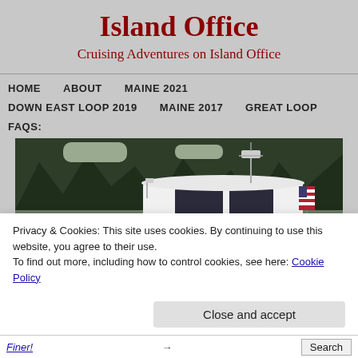Island Office
Cruising Adventures on Island Office
HOME
ABOUT
MAINE 2021
DOWN EAST LOOP 2019
MAINE 2017
GREAT LOOP
FAQS:
[Figure (photo): White motorboat with a dark cabin/wheelhouse moored in front of dense evergreen trees, with an American flag visible on the right side.]
Privacy & Cookies: This site uses cookies. By continuing to use this website, you agree to their use.
To find out more, including how to control cookies, see here: Cookie Policy
Close and accept
Finer!
→
Search